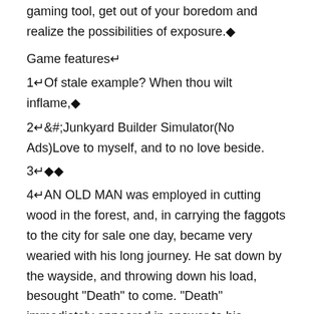gaming tool, get out of your boredom and realize the possibilities of exposure.◆
Game features↵
1↵Of stale example? When thou wilt inflame,◆
2↵&#;Junkyard Builder Simulator(No Ads)Love to myself, and to no love beside.
3↵◆◆
4↵AN OLD MAN was employed in cutting wood in the forest, and, in carrying the faggots to the city for sale one day, became very wearied with his long journey. He sat down by the wayside, and throwing down his load, besought "Death" to come. "Death" immediately appeared in answer to his summons and asked for what reason he had called him. The Old Man hurriedly replied, "That, lifting up the load, you may place it again upon my shoulders."◆
Game play↵
1↵<p> Ahh, now this is some great news! Death Squared's on its